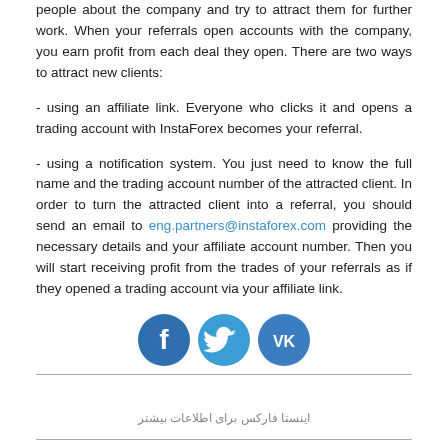people about the company and try to attract them for further work. When your referrals open accounts with the company, you earn profit from each deal they open. There are two ways to attract new clients:
- using an affiliate link. Everyone who clicks it and opens a trading account with InstaForex becomes your referral.
- using a notification system. You just need to know the full name and the trading account number of the attracted client. In order to turn the attracted client into a referral, you should send an email to eng.partners@instaforex.com providing the necessary details and your affiliate account number. Then you will start receiving profit from the trades of your referrals as if they opened a trading account via your affiliate link.
[Figure (other): Three social media icons: Facebook (blue circle with white f), Twitter (blue circle with white bird), VKontakte (blue circle with white VK)]
فارسی زبان برای اطلاعات بیشتر